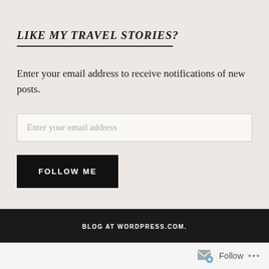LIKE MY TRAVEL STORIES?
Enter your email address to receive notifications of new posts.
Enter your email address
FOLLOW ME
BLOG AT WORDPRESS.COM.